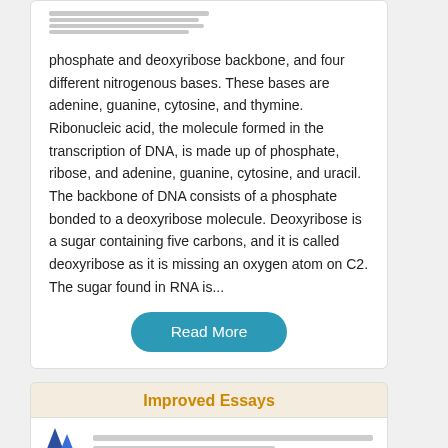[Figure (other): Small placeholder image with text lines at top of card]
phosphate and deoxyribose backbone, and four different nitrogenous bases. These bases are adenine, guanine, cytosine, and thymine. Ribonucleic acid, the molecule formed in the transcription of DNA, is made up of phosphate, ribose, and adenine, guanine, cytosine, and uracil. The backbone of DNA consists of a phosphate bonded to a deoxyribose molecule. Deoxyribose is a sugar containing five carbons, and it is called deoxyribose as it is missing an oxygen atom on C2. The sugar found in RNA is...
Read More
Improved Essays
[Figure (logo): Blue logo/icon at bottom left of improved essays card section]